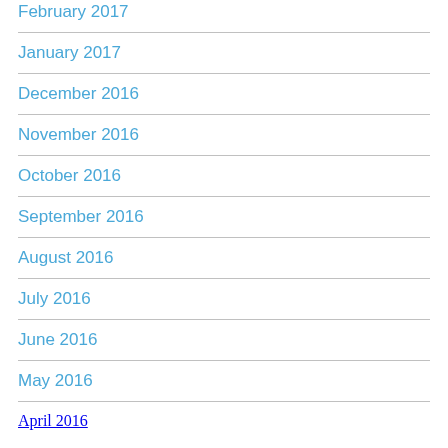February 2017
January 2017
December 2016
November 2016
October 2016
September 2016
August 2016
July 2016
June 2016
May 2016
April 2016